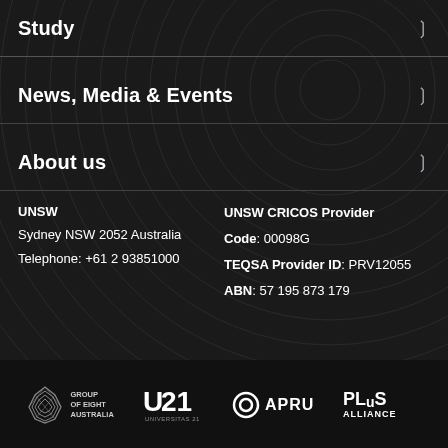Study
News, Media & Events
About us
UNSW
Sydney NSW 2052 Australia
Telephone: +61 2 93851000
UNSW CRICOS Provider
Code: 00098G
TEQSA Provider ID: PRV12055
ABN: 57 195 873 179
[Figure (logo): Group of Eight Australia logo]
[Figure (logo): U21 Universitas 21 logo]
[Figure (logo): APRU logo]
[Figure (logo): PLuS Alliance logo]